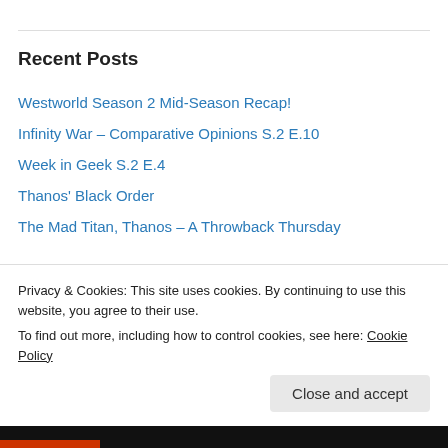Recent Posts
Westworld Season 2 Mid-Season Recap!
Infinity War – Comparative Opinions S.2 E.10
Week in Geek S.2 E.4
Thanos' Black Order
The Mad Titan, Thanos – A Throwback Thursday
Advertisements
[Figure (logo): Longreads advertisement banner with red circular L logo and LONGREADS text on black background]
Privacy & Cookies: This site uses cookies. By continuing to use this website, you agree to their use.
To find out more, including how to control cookies, see here: Cookie Policy